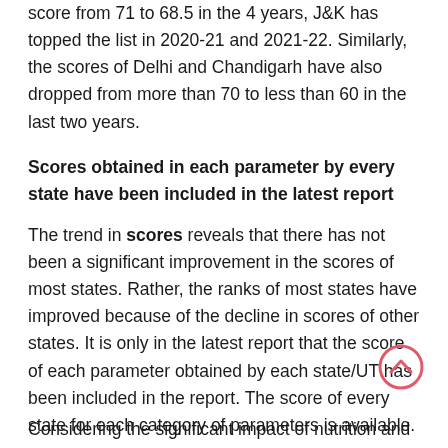score from 71 to 68.5 in the 4 years, J&K has topped the list in 2020-21 and 2021-22. Similarly, the scores of Delhi and Chandigarh have also dropped from more than 70 to less than 60 in the last two years.
Scores obtained in each parameter by every state have been included in the latest report
The trend in scores reveals that there has not been a significant improvement in the scores of most states. Rather, the ranks of most states have improved because of the decline in scores of other states. It is only in the latest report that the score of each parameter obtained by each state/UT has been included in the report. The score of every state for each category of parameters is available.
Considering the significant impact of nutrition and health